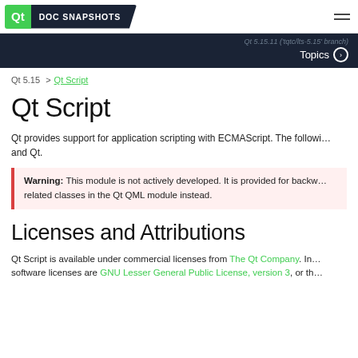Qt DOC SNAPSHOTS
Qt 5.15.11 ('tqtc/lts-5.15' branch)  Topics
Qt 5.15 > Qt Script
Qt Script
Qt provides support for application scripting with ECMAScript. The following pages contain information about Qt Script and Qt.
Warning: This module is not actively developed. It is provided for backwards compatibility only. Use the QML related classes in the Qt QML module instead.
Licenses and Attributions
Qt Script is available under commercial licenses from The Qt Company. In addition, it is available under free software licenses are GNU Lesser General Public License, version 3, or th